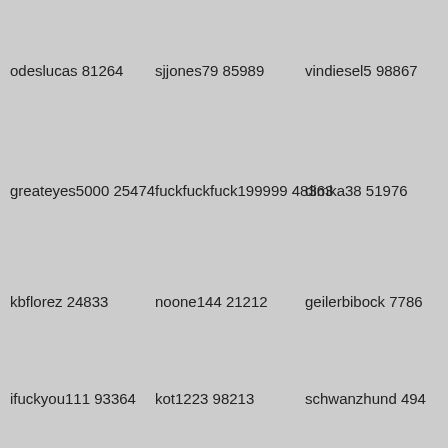odeslucas 81264
sjjones79 85989
vindiesel5 98867
greateyes5000 25474
fuckfuckfuck199999 48363
dimka38 51976
kbflorez 24833
noone144 21212
geilerbibock 7786
ifuckyou111 93364
kot1223 98213
schwanzhund 494